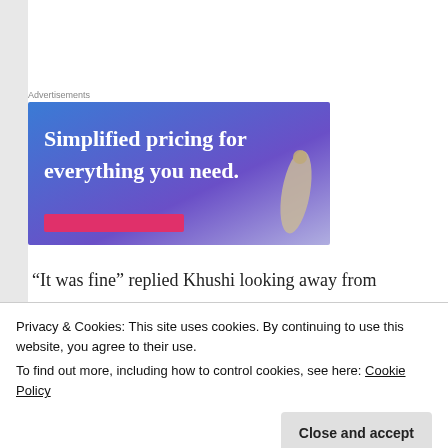Advertisements
[Figure (illustration): Advertisement banner with gradient blue-to-purple background. Text reads: 'Simplified pricing for everything you need.' with a pink button strip and a partial image of a needle/pin object at the right.]
“It was fine” replied Khushi looking away from
Privacy & Cookies: This site uses cookies. By continuing to use this website, you agree to their use.
To find out more, including how to control cookies, see here: Cookie Policy
Close and accept
d I -- ith t d f th d